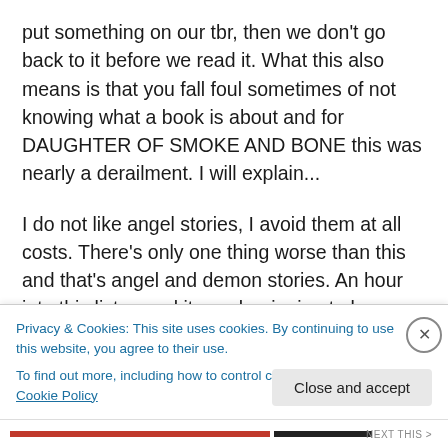put something on our tbr, then we don't go back to it before we read it. What this also means is that you fall foul sometimes of not knowing what a book is about and for DAUGHTER OF SMOKE AND BONE this was nearly a derailment. I will explain...
I do not like angel stories, I avoid them at all costs. There's only one thing worse than this and that's angel and demon stories. An hour into this listen and it was beginning to become apparent that there were creatures and then there were angels
Privacy & Cookies: This site uses cookies. By continuing to use this website, you agree to their use.
To find out more, including how to control cookies, see here: Cookie Policy